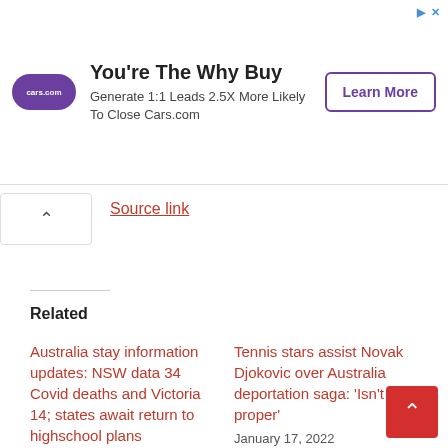[Figure (other): Advertisement banner for cars.com: logo on left, headline 'You're The Why Buy', subtext 'Generate 1:1 Leads 2.5X More Likely To Close Cars.com', and 'Learn More' CTA button on right]
Source link
Related
Australia stay information updates: NSW data 34 Covid deaths and Victoria 14; states await return to highschool plans
January 23, 2022
In "CORONA"
Tennis stars assist Novak Djokovic over Australia deportation saga: 'Isn't proper'
January 17, 2022
In "WORLD"
Covid dwell information: strain grows on Boris Johnson over lockdown events; Djokovic to